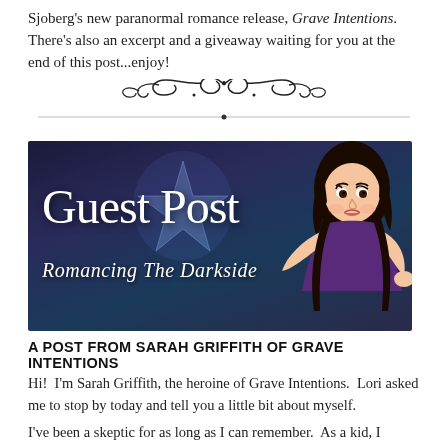Sjoberg's new paranormal romance release, Grave Intentions. There's also an excerpt and a giveaway waiting for you at the end of this post...enjoy!
[Figure (illustration): Decorative ornamental divider with scrollwork and flourishes]
[Figure (illustration): Guest Post banner image with dark blue/purple background showing 'Guest Post' in large white text and 'Romancing The Darkside' in cursive below, with an illustrated female character on the right]
A POST FROM SARAH GRIFFITH OF GRAVE INTENTIONS
Hi!  I'm Sarah Griffith, the heroine of Grave Intentions.  Lori asked me to stop by today and tell you a little bit about myself.
I've been a skeptic for as long as I can remember.  As a kid, I questioned how Santa could possibly deliver toys to children all around the world in the space of one evening.  And I really wanted to know the physics behind reindeer flying.  (Don't get me started about the Tooth Fairy.)  It used to drive my